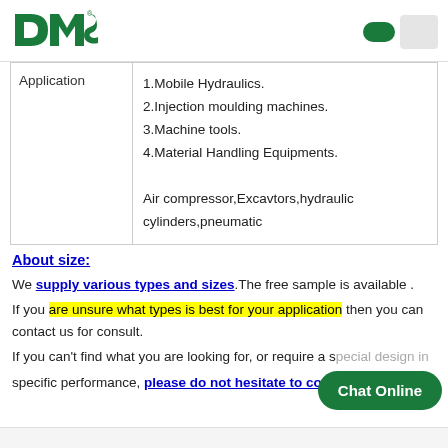[Figure (logo): DMS company logo in dark green with registered trademark symbol]
| Application |  |
| --- | --- |
| Application | 1.Mobile Hydraulics.
2.Injection moulding machines.
3.Machine tools.
4.Material Handling Equipments.

Air compressor,Excavtors,hydraulic cylinders,pneumatic |
About size:
We supply various types and sizes.The free sample is available . If you are unsure what types is best for your application then you can contact us for consult. If you can't find what you are looking for, or require a special design in specific performance, please do not hesitate to con...
[Figure (other): Chat Online button overlay in dark green]